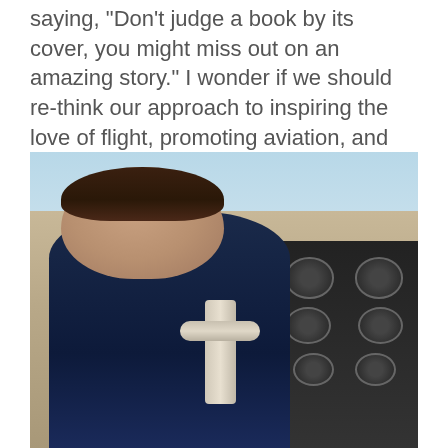saying, "Don't judge a book by its cover, you might miss out on an amazing story." I wonder if we should re-think our approach to inspiring the love of flight, promoting aviation, and protecting airports.
[Figure (photo): A young child with brown bowl-cut hair sitting in an aircraft cockpit, holding the control yoke and looking back at the camera with a slight smile. The child is wearing a dark navy sweater. The cockpit instrumentation panel with gauges is visible on the right side.]